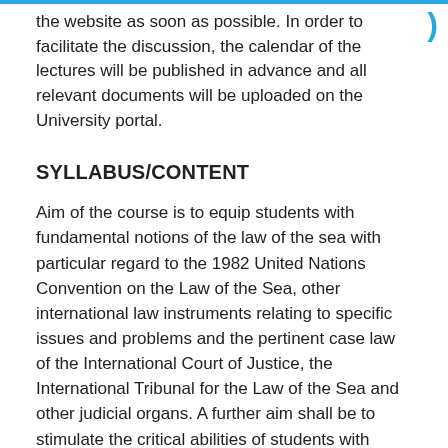the website as soon as possible. In order to facilitate the discussion, the calendar of the lectures will be published in advance and all relevant documents will be uploaded on the University portal.
SYLLABUS/CONTENT
Aim of the course is to equip students with fundamental notions of the law of the sea with particular regard to the 1982 United Nations Convention on the Law of the Sea, other international law instruments relating to specific issues and problems and the pertinent case law of the International Court of Justice, the International Tribunal for the Law of the Sea and other judicial organs. A further aim shall be to stimulate the critical abilities of students with regard to the relations and links between international law of the sea and other disciplines (international environmental law, energy law, migration law) and to the ever-increasing